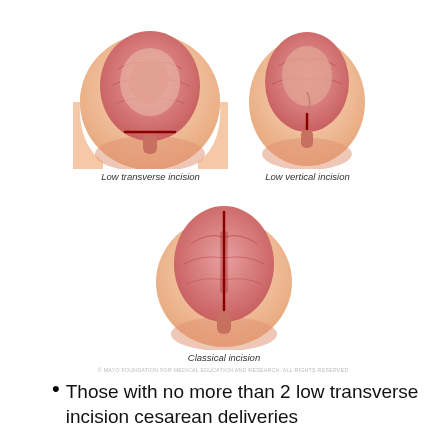[Figure (illustration): Three medical illustrations showing types of uterine incisions for cesarean delivery: Low transverse incision (top left), Low vertical incision (top right), and Classical incision (bottom center). Each shows a front view of a pregnant abdomen with the uterus exposed and the respective incision type marked. Copyright Mayo Foundation for Medical Education and Research.]
Low transverse incision
Low vertical incision
Classical incision
© MAYO FOUNDATION FOR MEDICAL EDUCATION AND RESEARCH. ALL RIGHTS RESERVED.
Those with no more than 2 low transverse incision cesarean deliveries